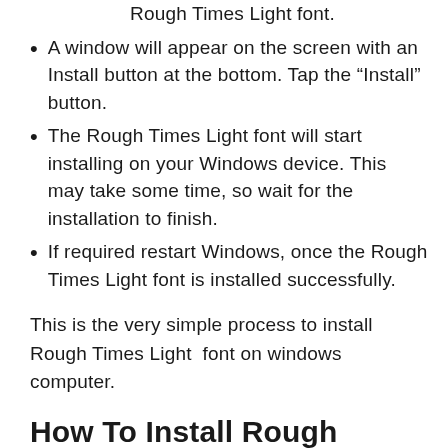Rough Times Light font.
A window will appear on the screen with an Install button at the bottom. Tap the “Install” button.
The Rough Times Light font will start installing on your Windows device. This may take some time, so wait for the installation to finish.
If required restart Windows, once the Rough Times Light font is installed successfully.
This is the very simple process to install Rough Times Light font on windows computer.
How To Install Rough